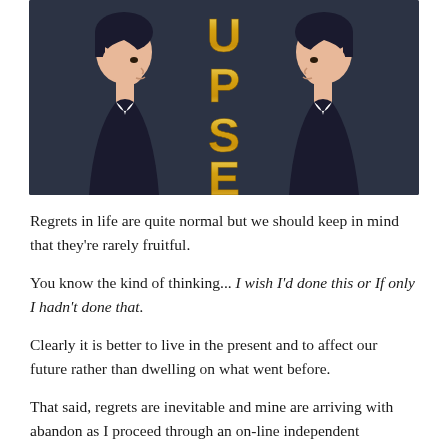[Figure (illustration): Illustrated book or podcast cover showing two people in profile facing away from each other against a dark background, with large golden vertical text reading 'UPSET' or similar between them.]
Regrets in life are quite normal but we should keep in mind that they're rarely fruitful.
You know the kind of thinking... I wish I'd done this or If only I hadn't done that.
Clearly it is better to live in the present and to affect our future rather than dwelling on what went before.
That said, regrets are inevitable and mine are arriving with abandon as I proceed through an on-line independent